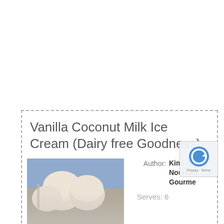Vanilla Coconut Milk Ice Cream (Dairy free Goodness)
[Figure (photo): Photo of vanilla coconut milk ice cream scoops in a bowl, cream/off-white colored, with a blue background visible]
Author: Kimi @ The Nourishing Gourmet
Serves: 6